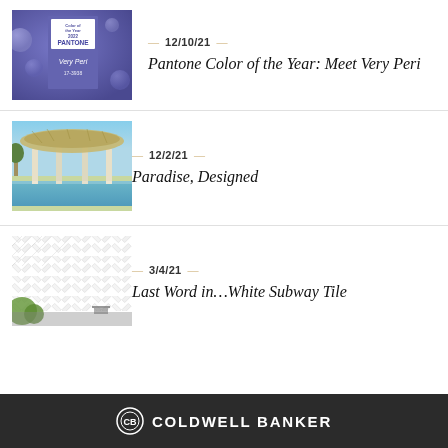[Figure (photo): Pantone Color of the Year 2022 Very Peri swatch card with purple/periwinkle background and decorative orbs]
12/10/21
Pantone Color of the Year: Meet Very Peri
[Figure (photo): Luxury resort pavilion with pool, thatched roof, columns, and tropical landscape]
12/2/21
Paradise, Designed
[Figure (photo): White herringbone subway tile pattern with greenery and outdoor chairs]
3/4/21
Last Word in…White Subway Tile
COLDWELL BANKER